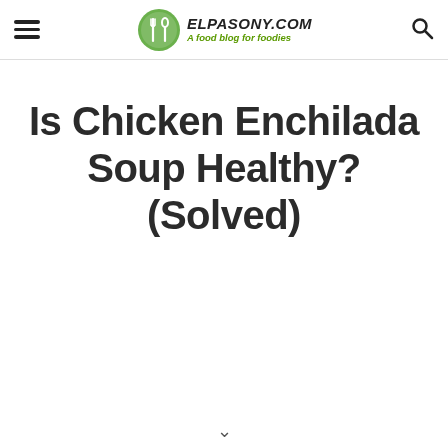ELPASONY.COM — A food blog for foodies
Is Chicken Enchilada Soup Healthy? (Solved)